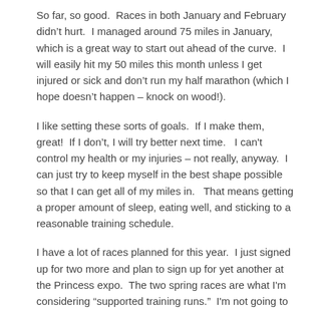So far, so good.  Races in both January and February didn't hurt.  I managed around 75 miles in January, which is a great way to start out ahead of the curve.  I will easily hit my 50 miles this month unless I get injured or sick and don't run my half marathon (which I hope doesn't happen – knock on wood!).
I like setting these sorts of goals.  If I make them, great!  If I don't, I will try better next time.   I can't control my health or my injuries – not really, anyway.  I can just try to keep myself in the best shape possible so that I can get all of my miles in.   That means getting a proper amount of sleep, eating well, and sticking to a reasonable training schedule.
I have a lot of races planned for this year.  I just signed up for two more and plan to sign up for yet another at the Princess expo.  The two spring races are what I'm considering “supported training runs.”  I'm not going to push, I'm just going to go out and enjoy the course and the fact that I can get in a training run between half marathons and not have to carry all my water with me.  Oh, and get some fun finisher's items as well.
And the most important part, run with my friends.